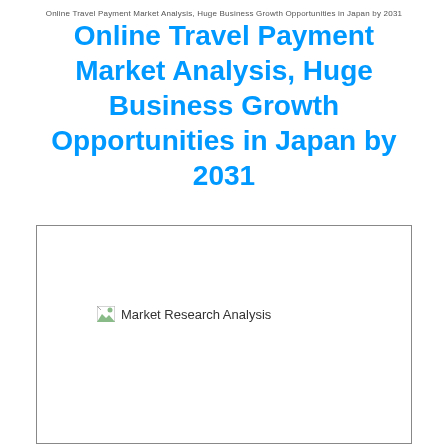Online Travel Payment Market Analysis, Huge Business Growth Opportunities in Japan by 2031
Online Travel Payment Market Analysis, Huge Business Growth Opportunities in Japan by 2031
[Figure (illustration): Market Research Analysis image placeholder — a broken image icon followed by the alt text 'Market Research Analysis' inside a bordered rectangular box]